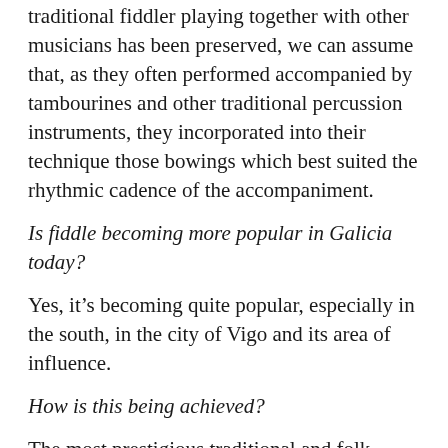traditional fiddler playing together with other musicians has been preserved, we can assume that, as they often performed accompanied by tambourines and other traditional percussion instruments, they incorporated into their technique those bowings which best suited the rhythmic cadence of the accompaniment.
Is fiddle becoming more popular in Galicia today?
Yes, it’s becoming quite popular, especially in the south, in the city of Vigo and its area of influence.
How is this being achieved?
The most prestigious traditional and folk music school in Spain, called ETRAD, is in Vigo. The fiddle has been taught there for more than